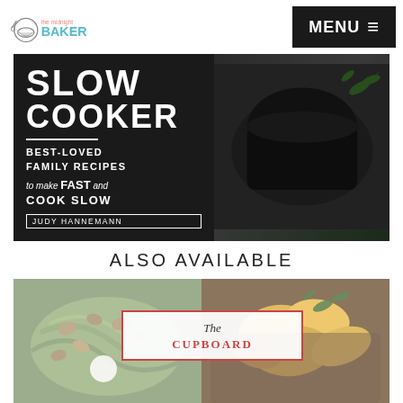The Midnight Baker — MENU
[Figure (photo): Book cover for Slow Cooker: Best-Loved Family Recipes to Make Fast and Cook Slow by Judy Hannemann. Dark background with slow cooker imagery.]
ALSO AVAILABLE
[Figure (photo): Two cookbook covers side by side: left showing a green vegetable dish with nuts, right showing The Cupboard to Table cookbook with roasted vegetables.]